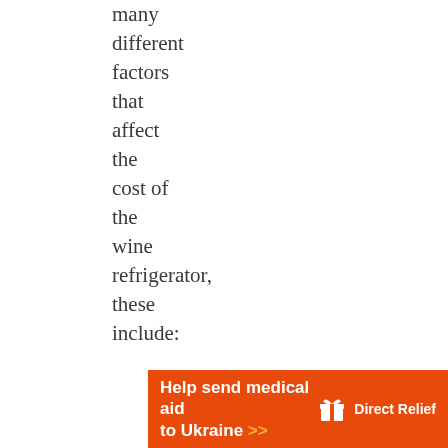many different factors that affect the cost of the wine refrigerator, these include:
[Figure (infographic): Orange advertisement banner for Direct Relief charity: 'Help send medical aid to Ukraine >>' with Direct Relief logo (white gift box icon) and organization name in white text on orange background.]